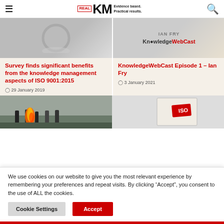RealKM — Evidence based. Practical results.
[Figure (photo): Article thumbnail image for ISO 9001:2015 knowledge management survey article]
Survey finds significant benefits from the knowledge management aspects of ISO 9001:2015
29 January 2019
[Figure (logo): KnowledgeWebCast logo with Ian Fry thumbnail]
KnowledgeWebCast Episode 1 – Ian Fry
3 January 2021
[Figure (photo): People at a fire training exercise outdoors]
[Figure (photo): ISO book/document cover with red ISO badge]
We use cookies on our website to give you the most relevant experience by remembering your preferences and repeat visits. By clicking “Accept”, you consent to the use of ALL the cookies.